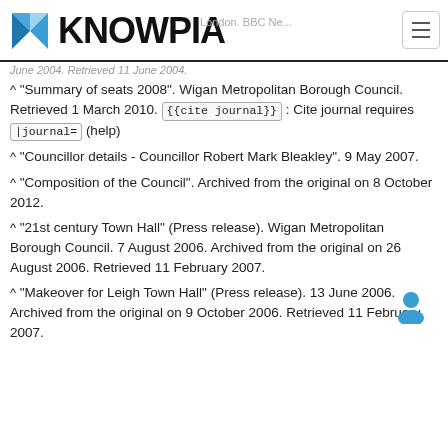KNOWPIA
London. BBC News. June 2004. Retrieved 11 June 2004.
^ "Summary of seats 2008". Wigan Metropolitan Borough Council. Retrieved 1 March 2010. {{cite journal}} : Cite journal requires |journal= (help)
^ "Councillor details - Councillor Robert Mark Bleakley". 9 May 2007.
^ "Composition of the Council". Archived from the original on 8 October 2012.
^ "21st century Town Hall" (Press release). Wigan Metropolitan Borough Council. 7 August 2006. Archived from the original on 26 August 2006. Retrieved 11 February 2007.
^ "Makeover for Leigh Town Hall" (Press release). 13 June 2006. Archived from the original on 9 October 2006. Retrieved 11 February 2007.